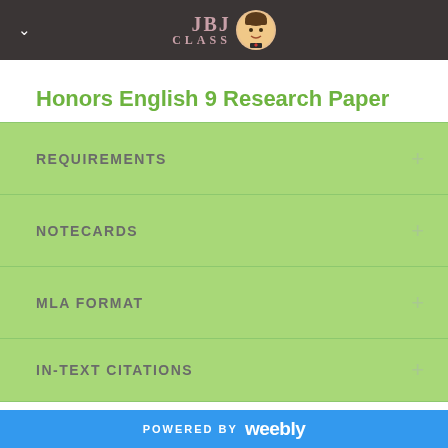JBJ CLASS
Honors English 9 Research Paper
REQUIREMENTS
NOTECARDS
MLA FORMAT
IN-TEXT CITATIONS
POWERED BY weebly